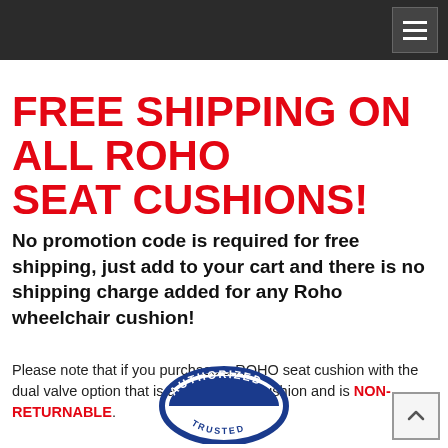FREE SHIPPING ON ALL ROHO SEAT CUSHIONS!
No promotion code is required for free shipping, just add to your cart and there is no shipping charge added for any Roho wheelchair cushion!
Please note that if you purchase a ROHO seat cushion with the dual valve option that is a customized cushion and is NON-RETURNABLE.
[Figure (logo): Authorized Trusted badge/seal, circular blue and white design]